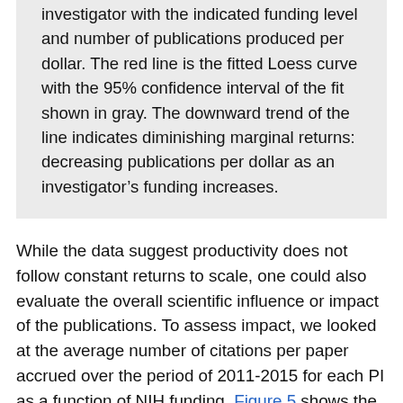investigator with the indicated funding level and number of publications produced per dollar. The red line is the fitted Loess curve with the 95% confidence interval of the fit shown in gray. The downward trend of the line indicates diminishing marginal returns: decreasing publications per dollar as an investigator's funding increases.
While the data suggest productivity does not follow constant returns to scale, one could also evaluate the overall scientific influence or impact of the publications. To assess impact, we looked at the average number of citations per paper accrued over the period of 2011-2015 for each PI as a function of NIH funding. Figure 5 shows the relationship between citations per paper and average annual NIH funding, which follows a relatively flat pattern, with only a small, discontinuous increase